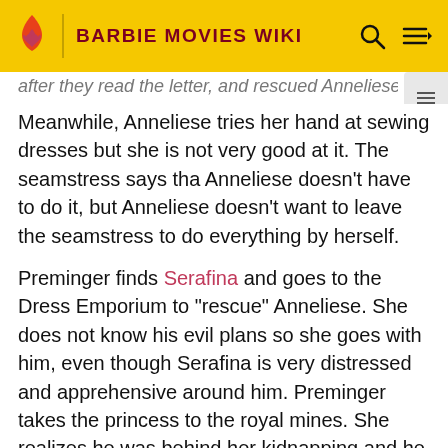BARBIE MOVIES WIKI
after they read the letter, and rescued Anneliese.
Meanwhile, Anneliese tries her hand at sewing dresses but she is not very good at it. The seamstress says that Anneliese doesn't have to do it, but Anneliese doesn't want to leave the seamstress to do everything by herself.
Preminger finds Serafina and goes to the Dress Emporium to "rescue" Anneliese. She does not know his evil plans so she goes with him, even though Serafina is very distressed and apprehensive around him. Preminger takes the princess to the royal mines. She realizes he was behind her kidnapping and he drags her into the mines, with Serafina following. Once inside the mines, Preminger reveals to a confused Anneliese that he is going to marry her mother and be king. He puts her in a room with a tied-